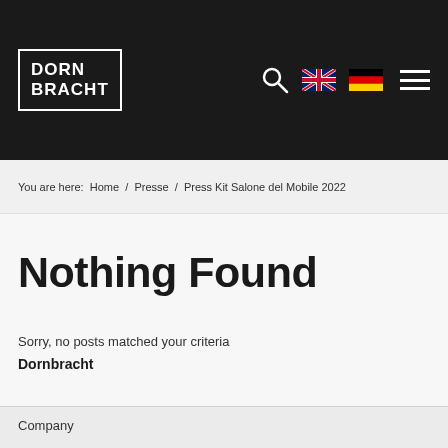DORNBRACHT
You are here:  Home  /  Presse  /  Press Kit Salone del Mobile 2022
Nothing Found
Sorry, no posts matched your criteria
Dornbracht
Company